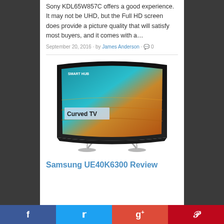Sony KDL65W857C offers a good experience. It may not be UHD, but the Full HD screen does provide a picture quality that will satisfy most buyers, and it comes with a…
September 20, 2016 · by James Anderson · 0
[Figure (photo): Samsung curved TV with 'Smart Hub' and 'Curved TV' label overlay on screen]
Samsung UE40K6300 Review
Social share buttons: Facebook, Twitter, Google+, Pinterest